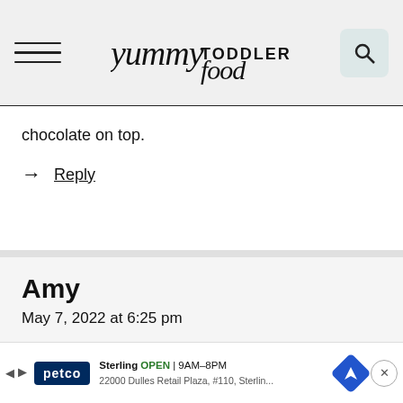yummy TODDLER food
chocolate on top.
→ Reply
Amy
May 7, 2022 at 6:25 pm
Do you think freezing them might help them hold up best in a lunchbox? They would also have an icepack.
Thanks!
Petco Sterling OPEN | 9AM–8PM 22000 Dulles Retail Plaza, #110, Sterling...